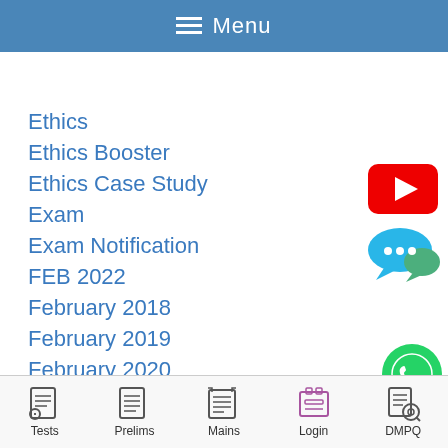≡ Menu
Ethics
Ethics Booster
Ethics Case Study
Exam
Exam Notification
FEB 2022
February 2018
February 2019
February 2020
February 2021
female
for
Tests  Prelims  Mains  Login  DMPQ